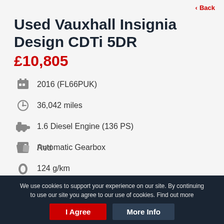Back
Used Vauxhall Insignia Design CDTi 5DR
£10,805
2016 (FL66PUK)
36,042 miles
1.6 Diesel Engine (136 PS)
Automatic Gearbox
124 g/km
60.1 MPG (Combined)**
Red
We use cookies to support your experience on our site. By continuing to use our site you agree to our use of cookies. Find out more